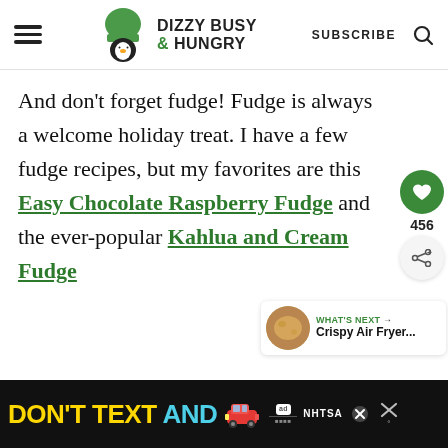DIZZY BUSY & HUNGRY — SUBSCRIBE
And don't forget fudge! Fudge is always a welcome holiday treat. I have a few fudge recipes, but my favorites are this Easy Chocolate Raspberry Fudge and the ever-popular Kahlua and Cream Fudge
[Figure (screenshot): What's Next panel with circular food image and text: WHAT'S NEXT → Crispy Air Fryer...]
ADVERTISEMENT
[Figure (screenshot): Bottom ad banner: DON'T TEXT AND [car emoji] with NHTSA logo and close buttons]